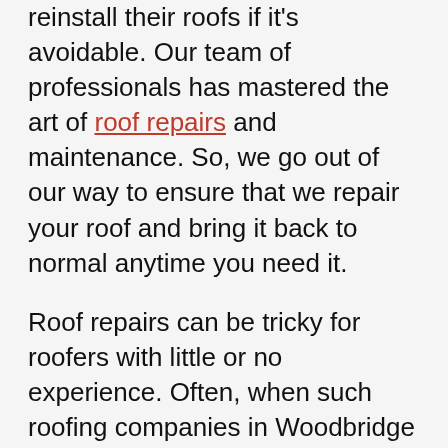reinstall their roofs if it's avoidable. Our team of professionals has mastered the art of roof repairs and maintenance. So, we go out of our way to ensure that we repair your roof and bring it back to normal anytime you need it.
Roof repairs can be tricky for roofers with little or no experience. Often, when such roofing companies in Woodbridge handle your project, you end up hiring another roofer to fix the damage truly. Our professional roof repair experts strive to understand the damage in your roof. We inspect your roofing system thoroughly find out any other damage apart from those you point out. This makes us give you a one-off solution that caters to all your roof repair needs.
At Universal Roofs Inc., we have experts who are